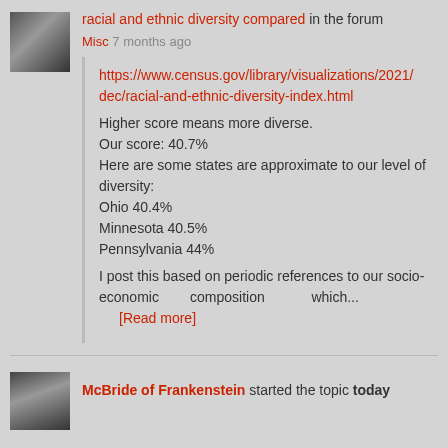racial and ethnic diversity compared in the forum
Misc 7 months ago
https://www.census.gov/library/visualizations/2021/dec/racial-and-ethnic-diversity-index.html
Higher score means more diverse.
Our score: 40.7%
Here are some states are approximate to our level of diversity:
Ohio 40.4%
Minnesota 40.5%
Pennsylvania 44%
I post this based on periodic references to our socio-economic composition which...
[Read more]
McBride of Frankenstein started the topic today